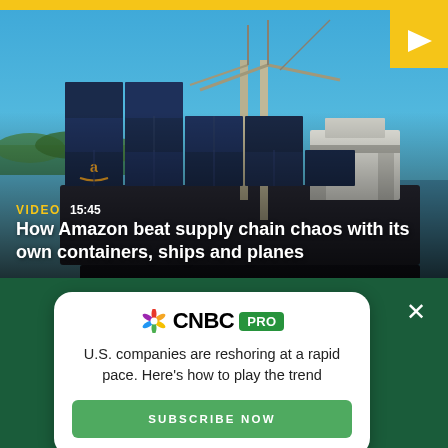[Figure (screenshot): CNBC news page screenshot showing a cargo ship loaded with Amazon containers, with a video thumbnail labeled VIDEO 15:45]
How Amazon beat supply chain chaos with its own containers, ships and planes
[Figure (infographic): CNBC PRO subscription modal overlay with text: U.S. companies are reshoring at a rapid pace. Here's how to play the trend, with a SUBSCRIBE NOW button]
CNBC logo with social media icons: Facebook, Twitter, LinkedIn, Email